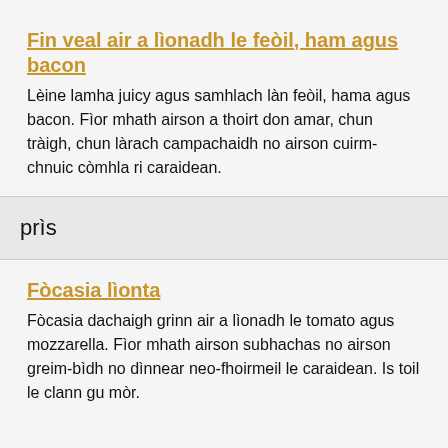Fin veal air a lìonadh le feòil, ham agus bacon
Lèine lamha juicy agus samhlach làn feòil, hama agus bacon. Fìor mhath airson a thoirt don amar, chun tràigh, chun làrach campachaidh no airson cuirm-chnuic còmhla ri caraidean.
prìs
Fòcasia lìonta
Fòcasia dachaigh grinn air a lìonadh le tomato agus mozzarella. Fìor mhath airson subhachas no airson greim-bìdh no dìnnear neo-fhoirmeil le caraidean. Is toil le clann gu mòr.